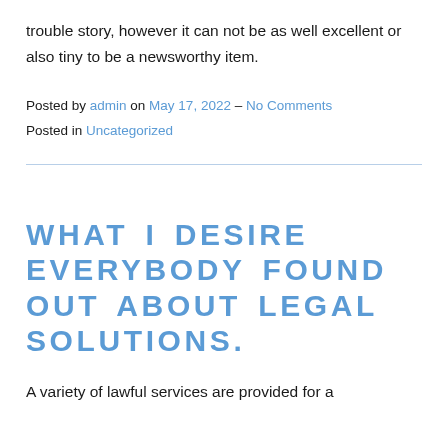trouble story, however it can not be as well excellent or also tiny to be a newsworthy item.
Posted by admin on May 17, 2022 – No Comments
Posted in Uncategorized
WHAT I DESIRE EVERYBODY FOUND OUT ABOUT LEGAL SOLUTIONS.
A variety of lawful services are provided for a